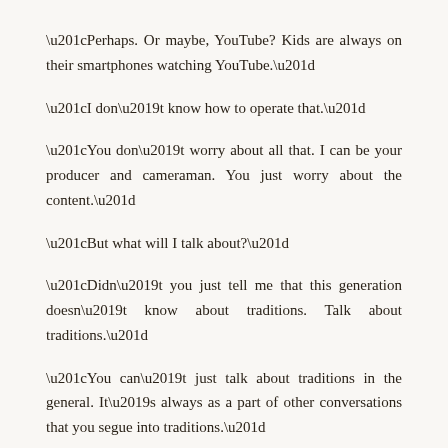“Perhaps. Or maybe, YouTube? Kids are always on their smartphones watching YouTube.”
“I don’t know how to operate that.”
“You don’t worry about all that. I can be your producer and cameraman. You just worry about the content.”
“But what will I talk about?”
“Didn’t you just tell me that this generation doesn’t know about traditions. Talk about traditions.”
“You can’t just talk about traditions in the general. It’s always as a part of other conversations that you segue into traditions.”
“Figure it out man. What are traditions? Stories, cooking, habits, etc. Talk about each one as if they. Conversations. You…